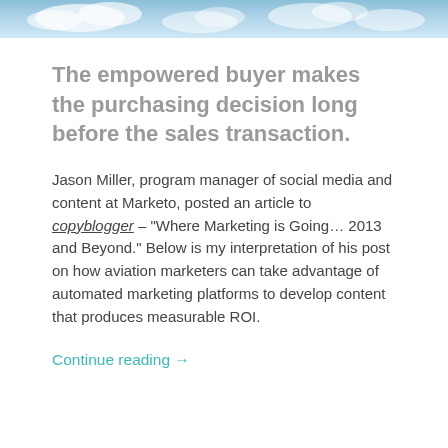[Figure (photo): Blue sky with clouds banner image at the top of the page]
The empowered buyer makes the purchasing decision long before the sales transaction.
Jason Miller, program manager of social media and content at Marketo, posted an article to copyblogger – “Where Marketing is Going… 2013 and Beyond.” Below is my interpretation of his post on how aviation marketers can take advantage of automated marketing platforms to develop content that produces measurable ROI.
Continue reading →